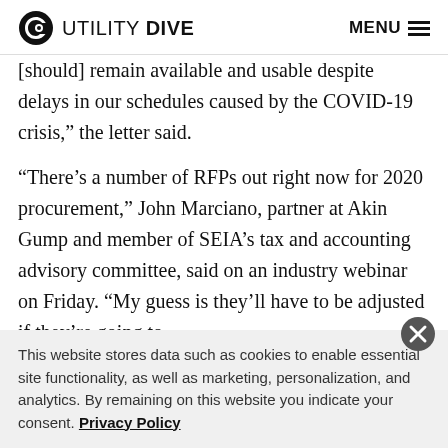UTILITY DIVE  MENU
[should] remain available and usable despite delays in our schedules caused by the COVID-19 crisis,” the letter said.
“There’s a number of RFPs out right now for 2020 procurement,” John Marciano, partner at Akin Gump and member of SEIA’s tax and accounting advisory committee, said on an industry webinar on Friday. “My guess is they’ll have to be adjusted if they’re going to
This website stores data such as cookies to enable essential site functionality, as well as marketing, personalization, and analytics. By remaining on this website you indicate your consent. Privacy Policy